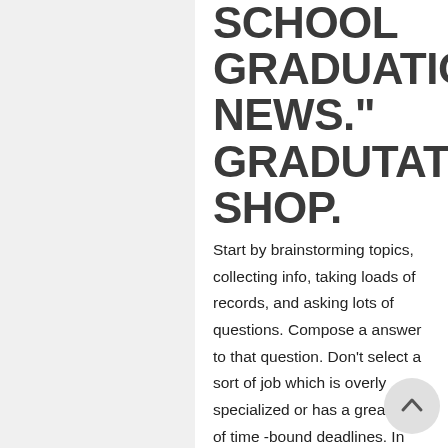SCHOOL GRADUATION NEWS." GRADUTATION SHOP.
Start by brainstorming topics, collecting info, taking loads of records, and asking lots of questions. Compose a answer to that question. Don't select a sort of job which is overly specialized or has a great deal of time -bound deadlines. In almost any sort of content solutions, you must have an available communication in the form of your customer. Nonetheless, it is possible to highlight the essence of function including your job duties, in short. You're unlikely to recognize your work accepted for printing constantly. They lack practical 1ws.com background